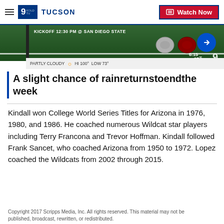9 KOLD TUCSON | Watch Now
[Figure (screenshot): TV broadcast banner showing football game promo: KICKOFF 12:30 PM @ SAN DIEGO STATE with football helmets, arrow circle button, time 6:15, score 95, and weather bar showing PARTLY CLOUDY HI 100° LOW 73°]
A slight chance of rainreturnstoendthe week
Kindall won College World Series Titles for Arizona in 1976, 1980, and 1986. He coached numerous Wildcat star players including Terry Francona and Trevor Hoffman. Kindall followed Frank Sancet, who coached Arizona from 1950 to 1972. Lopez coached the Wildcats from 2002 through 2015.
Copyright 2017 Scripps Media, Inc. All rights reserved. This material may not be published, broadcast, rewritten, or redistributed.